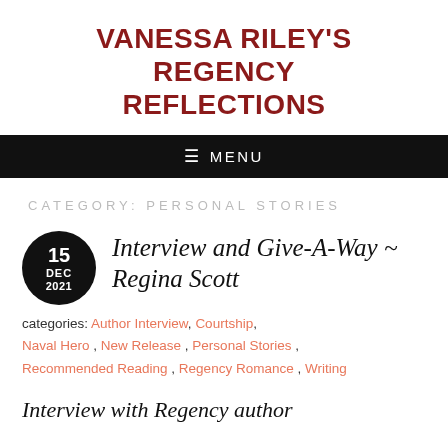VANESSA RILEY'S REGENCY REFLECTIONS
≡ MENU
CATEGORY: PERSONAL STORIES
Interview and Give-A-Way ~ Regina Scott
categories: Author Interview, Courtship, Naval Hero, New Release, Personal Stories, Recommended Reading, Regency Romance, Writing
Interview with Regency author